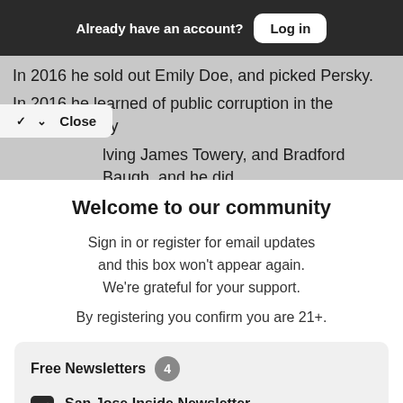Already have an account? Log in
In 2016 he sold out Emily Doe, and picked Persky. In 2016 he learned of public corruption in the county's family lving James Towery, and Bradford Baugh, and he did
Close
Welcome to our community
Sign in or register for email updates and this box won't appear again. We're grateful for your support.
By registering you confirm you are 21+.
Free Newsletters 4
San Jose Inside Newsletter (weekly)
News and politics from the capital